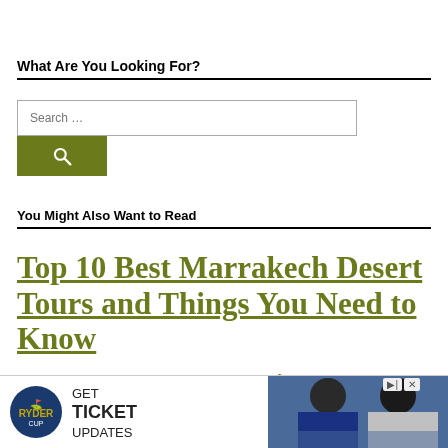What Are You Looking For?
[Figure (other): Search box with a text input field placeholder 'Search ...' and a dark olive/green search button with a magnifying glass icon]
You Might Also Want to Read
Top 10 Best Marrakech Desert Tours and Things You Need to Know
How to Save Space in Your Luggage
[Figure (other): Ryder Cup advertisement banner with logo, 'GET TICKET UPDATES' text, and photo of golfers]